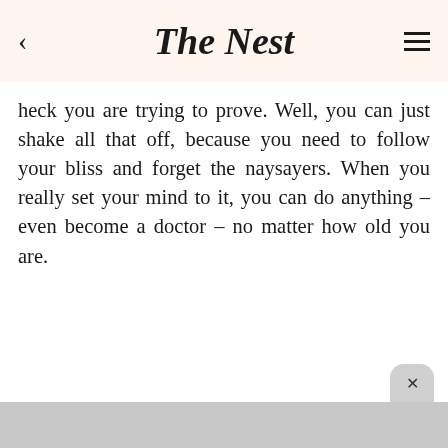The Nest
heck you are trying to prove. Well, you can just shake all that off, because you need to follow your bliss and forget the naysayers. When you really set your mind to it, you can do anything – even become a doctor – no matter how old you are.